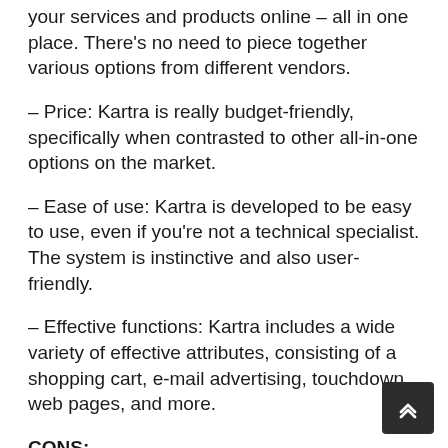your services and products online – all in one place. There's no need to piece together various options from different vendors.
– Price: Kartra is really budget-friendly, specifically when contrasted to other all-in-one options on the market.
– Ease of use: Kartra is developed to be easy to use, even if you're not a technical specialist. The system is instinctive and also user-friendly.
– Effective functions: Kartra includes a wide variety of effective attributes, consisting of a shopping cart, e-mail advertising, touchdown web pages, and more.
CONS:
– Restricted combinations: Kartra has actually